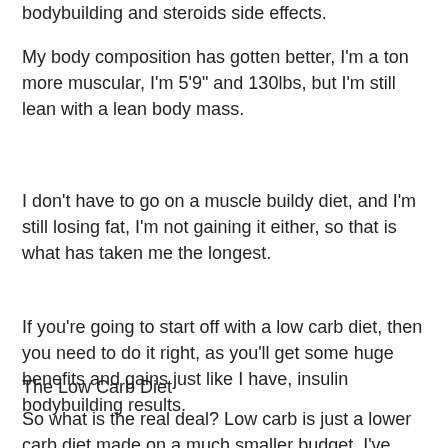bodybuilding and steroids side effects.
My body composition has gotten better, I'm a ton more muscular, I'm 5'9" and 130lbs, but I'm still lean with a lean body mass.
I don't have to go on a muscle buildy diet, and I'm still losing fat, I'm not gaining it either, so that is what has taken me the longest.
If you're going to start off with a low carb diet, then you need to do it right, as you'll get some huge benefits and gains just like I have, insulin bodybuilding results.
The Low Carb Diet
So what is the real deal? Low carb is just a lower carb diet made on a much smaller budget, I've used low carb diets before,